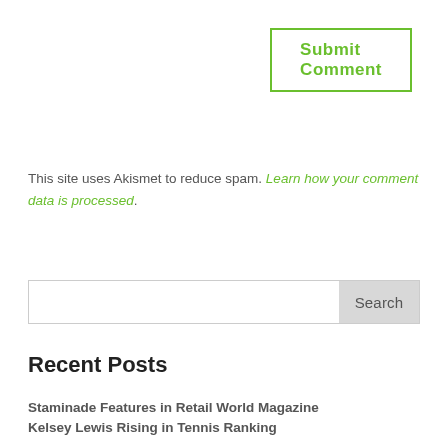[Figure (other): Submit Comment button with green border and green bold text]
This site uses Akismet to reduce spam. Learn how your comment data is processed.
[Figure (other): Search bar with text input and Search button]
Recent Posts
Staminade Features in Retail World Magazine
Kelsey Lewis Rising in Tennis Ranking
Q&A with Michael Bridges – Edgeworth Eagles
Q&A with Jeremy Brockie – Edgeworth Eagles